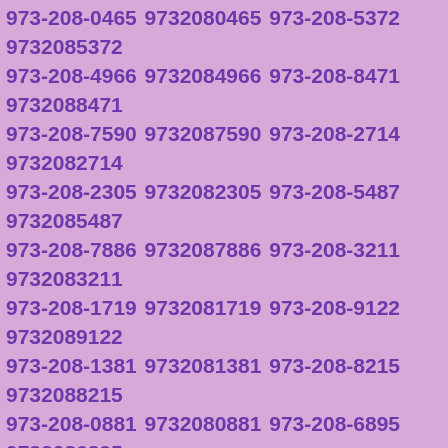973-208-0465 9732080465 973-208-5372 9732085372 973-208-4966 9732084966 973-208-8471 9732088471 973-208-7590 9732087590 973-208-2714 9732082714 973-208-2305 9732082305 973-208-5487 9732085487 973-208-7886 9732087886 973-208-3211 9732083211 973-208-1719 9732081719 973-208-9122 9732089122 973-208-1381 9732081381 973-208-8215 9732088215 973-208-0881 9732080881 973-208-6895 9732086895 973-208-4369 9732084369 973-208-5788 9732085788 973-208-4050 9732084050 973-208-0656 9732080656 973-208-3603 9732083603 973-208-6029 9732086029 973-208-0925 9732080925 973-208-6613 9732086613 973-208-4160 9732084160 973-208-9947 9732089947 973-208-5213 9732085213 973-208-0592 9732080592 973-208-9325 9732089325 973-208-9084 9732089084 973-208-9707 9732089707 973-208-1767 9732081767 973-208-3126 9732083126 973-208-3800 9732083800 973-208-9724 9732089724 973-208-8467 9732088467 973-208-6885 9732086885 973-208-2398 9732082398 973-208-7930 9732087930 973-208-7028 9732087028 973-208-0485 9732080485 973-208-6256 9732086256